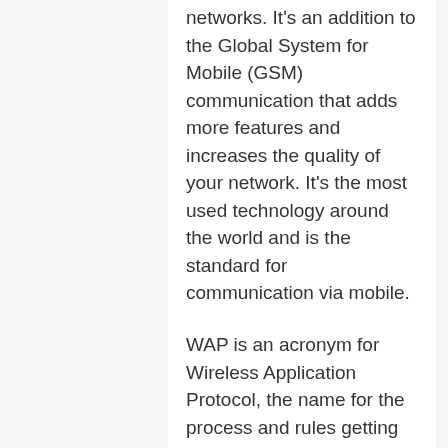networks. It's an addition to the Global System for Mobile (GSM) communication that adds more features and increases the quality of your network. It's the most used technology around the world and is the standard for communication via mobile.
WAP is an acronym for Wireless Application Protocol, the name for the process and rules getting information from a wireless network on your phone. It's the system that allows access to information on a WAP browser with your mobile phone. It lets us check emails, social media, and web pages on our mobile devices.
Apple Safari, Internet Explorer, and